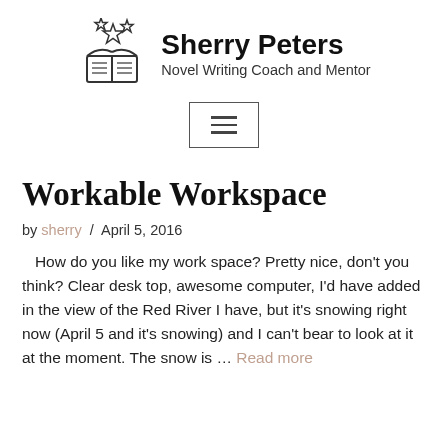[Figure (logo): Open book with stars above it, serving as site logo for Sherry Peters]
Sherry Peters
Novel Writing Coach and Mentor
[Figure (other): Hamburger menu button with three horizontal lines inside a rectangle border]
Workable Workspace
by sherry / April 5, 2016
How do you like my work space? Pretty nice, don't you think? Clear desk top, awesome computer, I'd have added in the view of the Red River I have, but it's snowing right now (April 5 and it's snowing) and I can't bear to look at it at the moment. The snow is … Read more